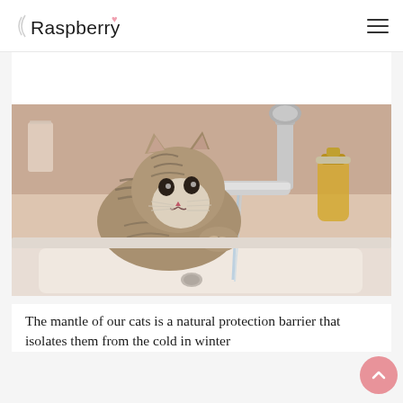Raspberry
[Figure (photo): A tabby kitten drinking water from a bathroom faucet/tap over a white sink, close-up photo]
The mantle of our cats is a natural protection barrier that isolates them from the cold in winter